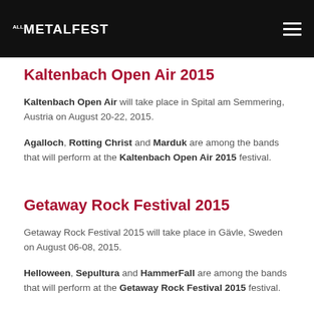ALL METALFEST
Kaltenbach Open Air 2015
Kaltenbach Open Air will take place in Spital am Semmering, Austria on August 20-22, 2015.
Agalloch, Rotting Christ and Marduk are among the bands that will perform at the Kaltenbach Open Air 2015 festival.
Getaway Rock Festival 2015
Getaway Rock Festival 2015 will take place in Gävle, Sweden on August 06-08, 2015.
Helloween, Sepultura and HammerFall are among the bands that will perform at the Getaway Rock Festival 2015 festival.